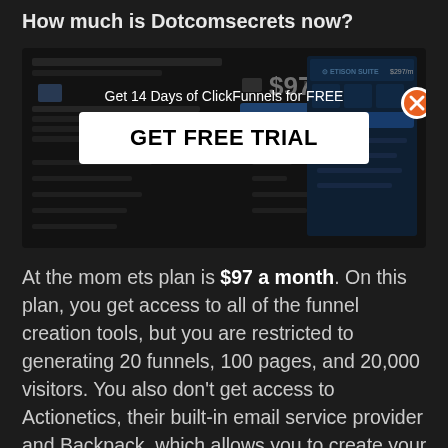How much is Dotcomsecrets now?
[Figure (screenshot): Screenshot of ClickFunnels pricing page showing $97/month plan with a dark overlay and popup dialog. The popup contains text 'Get 14 Days of ClickFunnels for FREE' and a white button labeled 'GET FREE TRIAL'. A close button (orange X) appears in the top right.]
At the moment, the Dotcomsecrets plan is $97 a month. On this plan, you get access to all of the funnel creation tools, but you are restricted to generating 20 funnels, 100 pages, and 20,000 visitors. You also don't get access to Actionetics, their built-in email service provider and Backpack, which allows you to create your own affiliate